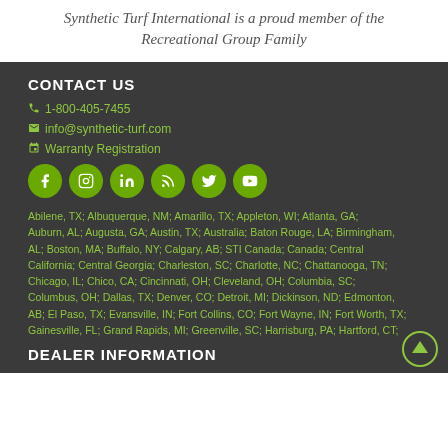Synthetic Turf International is a proud member of the Recreational Group Family
CONTACT US
1-800-405-7455
info@synthetic-turf.com
Warranty Registration
[Figure (infographic): Six green circular social media icon buttons: Facebook, Instagram, LinkedIn, RSS, Twitter, YouTube]
Abilene, TX; Albuquerque, NM; Amarillo, TX; Appleton, WI; Atlanta, GA; Auburn, AL; Augusta, GA; Austin, TX; Australia; Baton Rouge, LA; Birmingham, AL; Boston, MA; Buffalo, NY; Calgary, AB; STI Canada; Canada; Central California; Central Georgia; Charleston, SC; Charlotte, NC; Chattanooga, TN; Chicago, IL; Chico, CA; Cincinnati, OH; Cleveland, OH; Columbia, SC; Columbus, OH; Dallas, TX; Denver, CO; Detroit, MI; Dickinson, ND; Edmonton, AB; El Paso, TX; Evansville, IN; Fort Collins, CO; Fort Wayne, IN; Fort Worth, TX; Gainesville, FL; Grand Rapids, MI; Greenville, SC; Harrisburg, PA; Hartford, CT;
DEALER INFORMATION